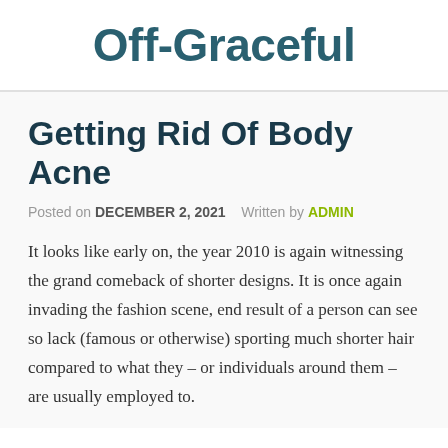Off-Graceful
Getting Rid Of Body Acne
Posted on DECEMBER 2, 2021   Written by ADMIN
It looks like early on, the year 2010 is again witnessing the grand comeback of shorter designs. It is once again invading the fashion scene, end result of a person can see so lack (famous or otherwise) sporting much shorter hair compared to what they – or individuals around them – are usually employed to.